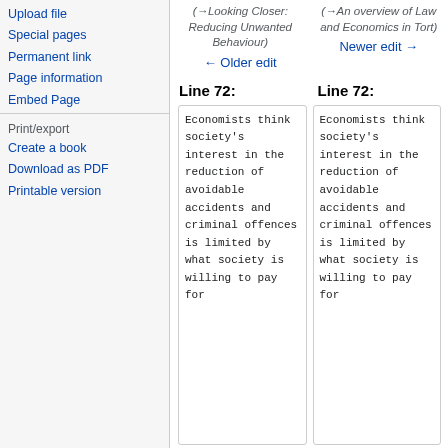Upload file
Special pages
Permanent link
Page information
Embed Page
Print/export
Create a book
Download as PDF
Printable version
(→Looking Closer: Reducing Unwanted Behaviour)
← Older edit
(→An overview of Law and Economics in Tort)
Newer edit →
Line 72:
Line 72:
Economists think society's interest in the reduction of avoidable accidents and criminal offences is limited by what society is willing to pay for
Economists think society's interest in the reduction of avoidable accidents and criminal offences is limited by what society is willing to pay for